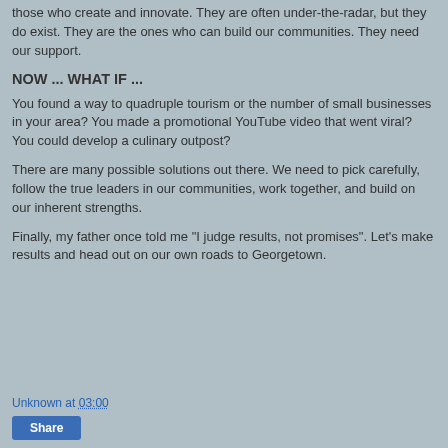those who create and innovate. They are often under-the-radar, but they do exist. They are the ones who can build our communities. They need our support.
NOW ... WHAT IF ...
You found a way to quadruple tourism or the number of small businesses in your area? You made a promotional YouTube video that went viral? You could develop a culinary outpost?
There are many possible solutions out there. We need to pick carefully, follow the true leaders in our communities, work together, and build on our inherent strengths.
Finally, my father once told me "I judge results, not promises". Let's make results and head out on our own roads to Georgetown.
Unknown at 03:00
Share